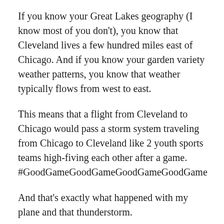If you know your Great Lakes geography (I know most of you don't), you know that Cleveland lives a few hundred miles east of Chicago. And if you know your garden variety weather patterns, you know that weather typically flows from west to east.
This means that a flight from Cleveland to Chicago would pass a storm system traveling from Chicago to Cleveland like 2 youth sports teams high-fiving each other after a game. #GoodGameGoodGameGoodGameGoodGame
And that's exactly what happened with my plane and that thunderstorm.
Once our 6:45pm flight finally left Cleveland around 10:30pm we started seeing flashes through the windows on the right side of the plane. However, I was in a window seat on the left side of the plane